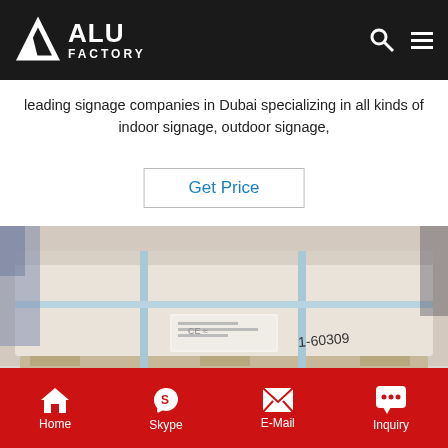ALU FACTORY
leading signage companies in Dubai specializing in all kinds of indoor signage, outdoor signage,
Get Price
[Figure (photo): Packaged aluminum sheet product on a wooden pallet, wrapped and strapped with blue bands, with a label/sticker on the front.]
Home  Skype  E-Mail  Inquiry